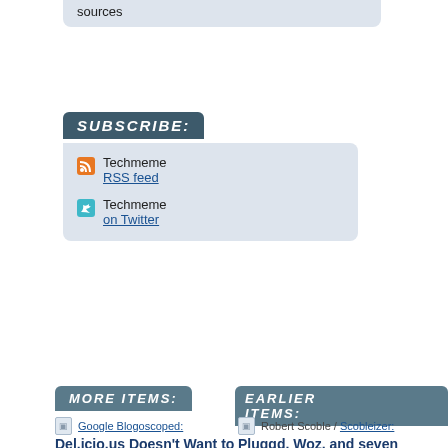sources
SUBSCRIBE:
Techmeme RSS feed
Techmeme on Twitter
MORE ITEMS:
EARLIER ITEMS:
Google Blogoscoped: Del.icio.us Doesn't Want to Get Indexed Discussion: Ego Food
Ted / Signal to Noise: Worth a read: VoIP Hacks Discussion: Smith On VoIP, VoIP & Gadgets Blog and VoIP Blog
Mike / Techdirt: George Lucas
Robert Scoble / Scobleizer: Pluggd, Woz, and seven minutes of Flock Discussion: ScobleShow and Digital Inspiration
Mike / Techdirt: If Mod Chip Firms Get Fined, Should Pep Boys Start Calling Their